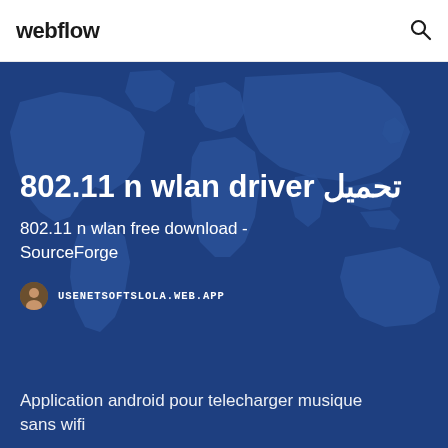webflow
[Figure (illustration): Dark blue world map silhouette on a navy background serving as hero section backdrop]
802.11 n wlan driver تحميل
802.11 n wlan free download - SourceForge
USENETSOFTSLOLA.WEB.APP
Application android pour telecharger musique sans wifi